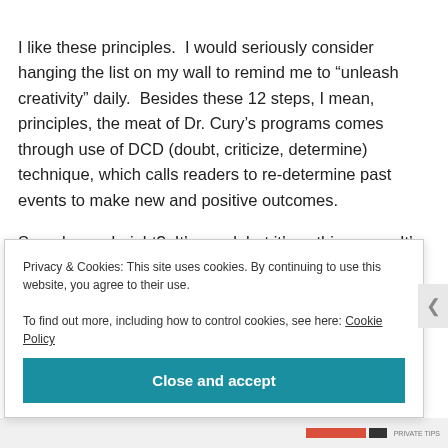I like these principles. I would seriously consider hanging the list on my wall to remind me to “unleash creativity” daily. Besides these 12 steps, I mean, principles, the meat of Dr. Cury’s programs comes through use of DCD (doubt, criticize, determine) technique, which calls readers to re-determine past events to make new and positive outcomes.
Sounds good, right? It’s good, but it’s nothing new. It’s
Privacy & Cookies: This site uses cookies. By continuing to use this website, you agree to their use.
To find out more, including how to control cookies, see here: Cookie Policy
Close and accept